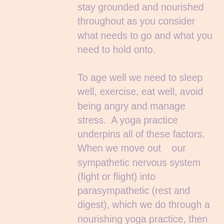stay grounded and nourished throughout as you consider what needs to go and what you need to hold onto.
To age well we need to sleep well, exercise, eat well, avoid being angry and manage stress.  A yoga practice underpins all of these factors.  When we move out   our sympathetic nervous system (fight or flight) into parasympathetic (rest and digest), which we do through a nourishing yoga practice, then our immunity is boosted and our quality of sleep is enhanced.  When we learn to pause between our crazy thoughts and slow down we make better choices that support rather